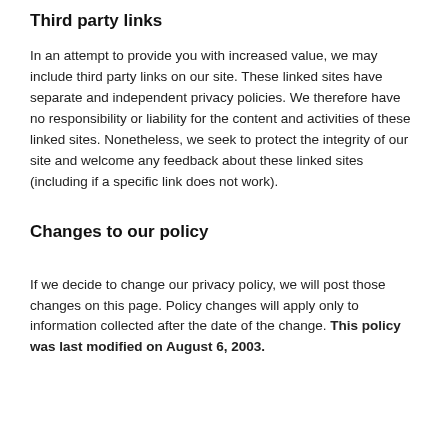Third party links
In an attempt to provide you with increased value, we may include third party links on our site. These linked sites have separate and independent privacy policies. We therefore have no responsibility or liability for the content and activities of these linked sites. Nonetheless, we seek to protect the integrity of our site and welcome any feedback about these linked sites (including if a specific link does not work).
Changes to our policy
If we decide to change our privacy policy, we will post those changes on this page. Policy changes will apply only to information collected after the date of the change. This policy was last modified on August 6, 2003.